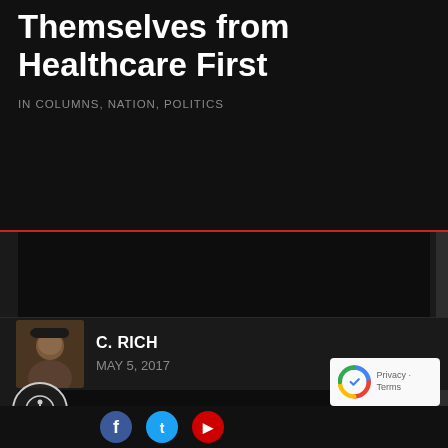Themselves from Healthcare First
IN COLUMNS, NATION, POLITICS
[Figure (photo): Dark image area / article featured image placeholder]
C. RICH
MAY 5, 2017